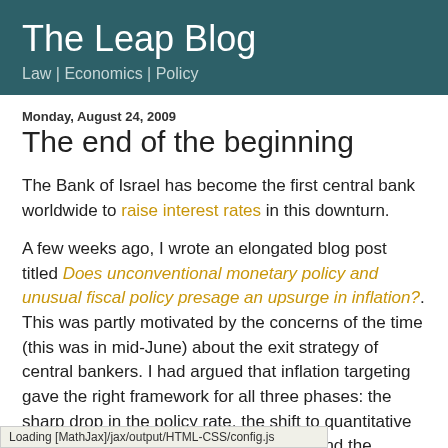The Leap Blog
Law | Economics | Policy
Monday, August 24, 2009
The end of the beginning
The Bank of Israel has become the first central bank worldwide to raise interest rates in this downturn.
A few weeks ago, I wrote an elongated blog post titled Does unconventional monetary policy and unusual fiscal policy presage an upsurge in inflation?. This was partly motivated by the concerns of the time (this was in mid-June) about the exit strategy of central bankers. I had argued that inflation targeting gave the right framework for all three phases: the sharp drop in the policy rate, the shift to quantitative easing when the short rate fell to zero, and the eventual rise of [the first mover on the
Loading [MathJax]/jax/output/HTML-CSS/config.js